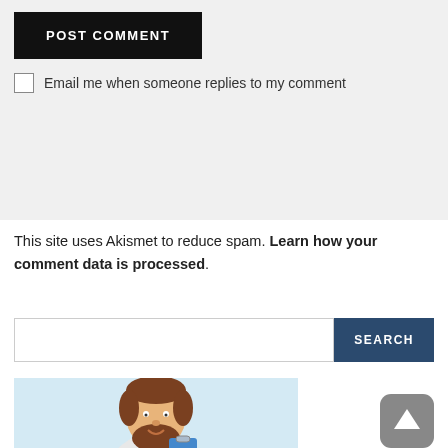POST COMMENT
Email me when someone replies to my comment
This site uses Akismet to reduce spam. Learn how your comment data is processed.
[Figure (screenshot): Search bar with text input field and dark blue SEARCH button]
[Figure (illustration): Cartoon illustration of a bearded man holding shopping bags on a light blue background. A grey rounded square scroll-to-top button with an upward arrow is visible in the bottom right.]